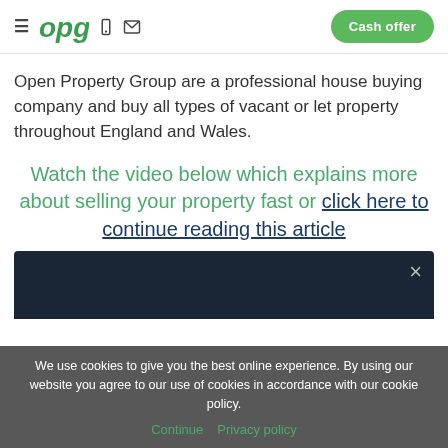Open Property Group — navigation header with logo, phone, email icons, and Cash offer button
Open Property Group are a professional house buying company and buy all types of vacant or let property throughout England and Wales.
Watch the video below which explains more about selling your property fast or click here to continue reading this article
[Figure (screenshot): Dark video thumbnail with a close (×) button in the top right corner]
We use cookies to give you the best online experience. By using our website you agree to our use of cookies in accordance with our cookie policy. Continue  Privacy policy